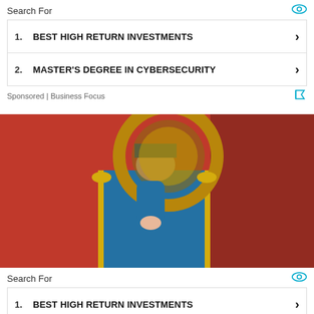Search For
1. BEST HIGH RETURN INVESTMENTS
2. MASTER'S DEGREE IN CYBERSECURITY
Sponsored | Business Focus
[Figure (photo): Person in blue marching band uniform playing a brass instrument (sousaphone/tuba) against a crimson/red background]
Search For
1. BEST HIGH RETURN INVESTMENTS
2. MASTER'S DEGREE IN CYBERSECURITY
Sponsored | Business Focus